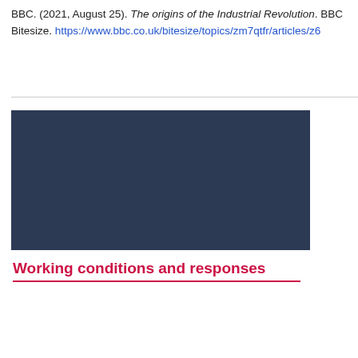BBC. (2021, August 25). The origins of the Industrial Revolution. BBC Bitesize. https://www.bbc.co.uk/bitesize/topics/zm7qtfr/articles/z6...
[Figure (other): Dark navy blue rectangle, likely a video embed placeholder]
Working conditions and responses